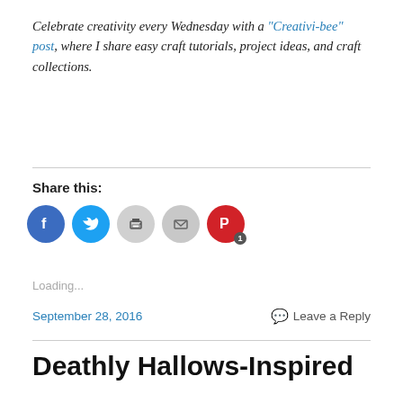Celebrate creativity every Wednesday with a "Creativi-bee" post, where I share easy craft tutorials, project ideas, and craft collections.
Share this:
[Figure (other): Social share icons: Facebook (blue circle), Twitter (blue circle), Print (gray circle), Email (gray circle), Pinterest (red circle with badge '1')]
Loading...
September 28, 2016    Leave a Reply
Deathly Hallows-Inspired